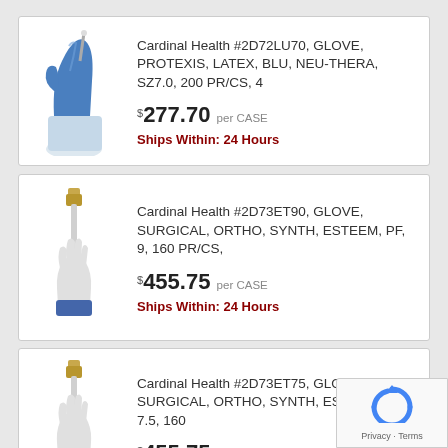[Figure (photo): Blue latex surgical glove product photo — hand wearing blue glove holding instrument]
Cardinal Health #2D72LU70, GLOVE, PROTEXIS, LATEX, BLU, NEU-THERA, SZ7.0, 200 PR/CS, 4
$277.70 per CASE
Ships Within: 24 Hours
[Figure (photo): White surgical ortho glove product photo — hand wearing white glove holding cylindrical tool]
Cardinal Health #2D73ET90, GLOVE, SURGICAL, ORTHO, SYNTH, ESTEEM, PF, 9, 160 PR/CS,
$455.75 per CASE
Ships Within: 24 Hours
[Figure (photo): White surgical ortho glove product photo — hand wearing white glove holding cylindrical tool]
Cardinal Health #2D73ET75, GLOVE, SURGICAL, ORTHO, SYNTH, ESTEEM, PF, 7.5, 160
$455.75 per CASE